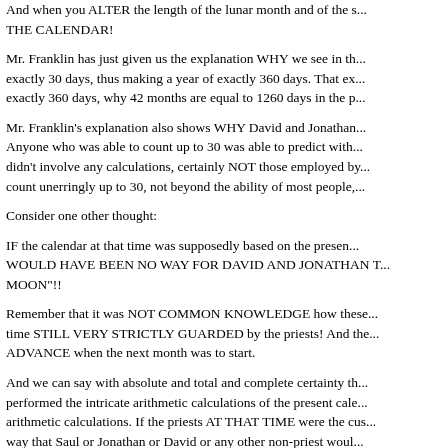And when you ALTER the length of the lunar month and of the s... THE CALENDAR!
Mr. Franklin has just given us the explanation WHY we see in th... exactly 30 days, thus making a year of exactly 360 days. That ex... exactly 360 days, why 42 months are equal to 1260 days in the p...
Mr. Franklin's explanation also shows WHY David and Jonathan... Anyone who was able to count up to 30 was able to predict with... didn't involve any calculations, certainly NOT those employed by... count unerringly up to 30, not beyond the ability of most people,...
Consider one other thought:
IF the calendar at that time was supposedly based on the presen... WOULD HAVE BEEN NO WAY FOR DAVID AND JONATHAN T... MOON"!!
Remember that it was NOT COMMON KNOWLEDGE how these... time STILL VERY STRICTLY GUARDED by the priests! And the... ADVANCE when the next month was to start.
And we can say with absolute and total and complete certainty th... performed the intricate arithmetic calculations of the present cale... arithmetic calculations. If the priests AT THAT TIME were the cus... way that Saul or Jonathan or David or any other non-priest woul... way that the priests would have told people a day or more in adv... later they still communicated the start of every new month to...